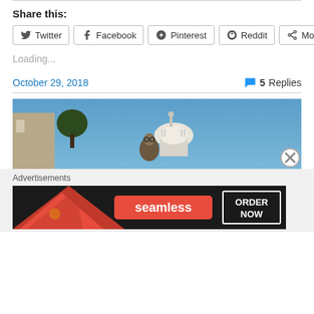Share this:
Twitter  Facebook  Pinterest  Reddit  More
Loading...
October 29, 2018   5 Replies
[Figure (photo): Photo showing the US Capitol building dome against a blue sky with people in the foreground]
Advertisements
[Figure (screenshot): Seamless food delivery advertisement banner showing pizza and ORDER NOW button]